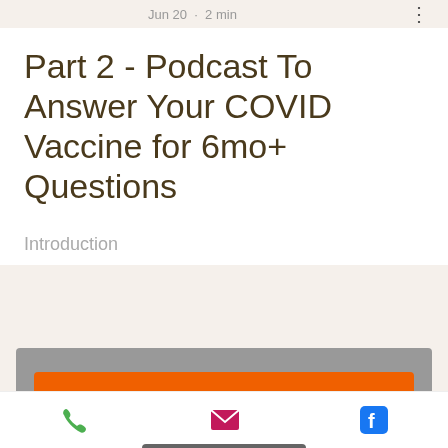Jun 20 · 2 min
Part 2 - Podcast To Answer Your COVID Vaccine for 6mo+ Questions
Introduction
[Figure (screenshot): SoundCloud embedded player with orange 'Play on SoundCloud' button and 'Listen in browser' option on a grey background]
Phone | Email | Facebook icons